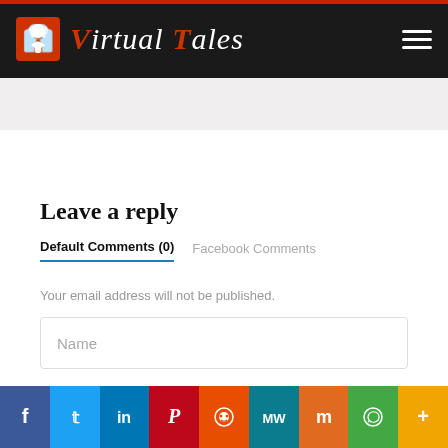Virtual Tales
Leave a reply
Default Comments (0)   Facebook Comments
Your email address will not be published.
Name